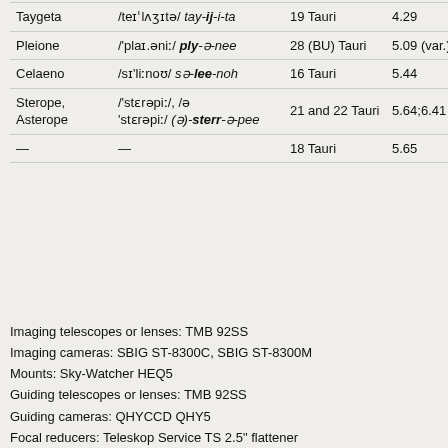| Name | Pronunciation | Designation | App. magnitude |
| --- | --- | --- | --- |
| Taygeta | /teɪˈlʌʒɪtə/ tay-ij-i-ta | 19 Tauri | 4.29 |
| Pleione | /'plaɪ.əniː/ ply-ə-nee | 28 (BU) Tauri | 5.09 (var.) |
| Celaeno | /sɪ'liːnoʊ/ sə-lee-noh | 16 Tauri | 5.44 |
| Sterope, Asterope | /'stɛrəpiː/, /ə 'stɛrəpiː/ (ə)-sterr-ə-pee | 21 and 22 Tauri | 5.64;6.41 |
| — | — | 18 Tauri | 5.65 |
Imaging telescopes or lenses: TMB 92SS
Imaging cameras: SBIG ST-8300C, SBIG ST-8300M
Mounts: Sky-Watcher HEQ5
Guiding telescopes or lenses: TMB 92SS
Guiding cameras: QHYCCD QHY5
Focal reducers: Teleskop Service TS 2.5" flattener